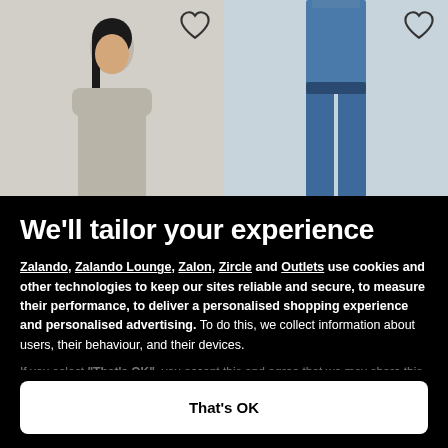[Figure (photo): Two fashion model photos side by side: left shows a person in a light gray shirt on gray background, right shows jeans on a person with blue jeans on light background. Both have heart/wishlist icons in top right corners.]
We'll tailor your experience
Zalando, Zalando Lounge, Zalon, Zircle and Outlets use cookies and other technologies to keep our sites reliable and secure, to measure their performance, to deliver a personalised shopping experience and personalised advertising. To do this, we collect information about users, their behaviour, and their devices.
If you select "That's OK", you accept this and agree that we may share this information with our partners.
Only essential
Set preferences
That's OK